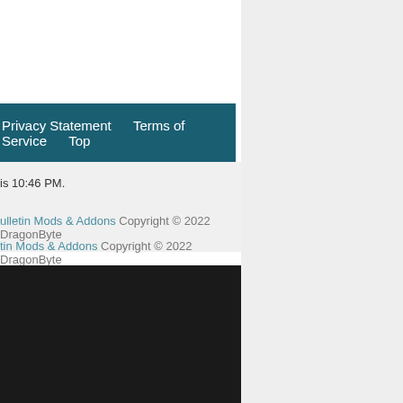Privacy Statement   Terms of Service   Top
is 10:46 PM.
ulletin Mods & Addons Copyright © 2022 DragonByte
tin Mods & Addons Copyright © 2022 DragonByte